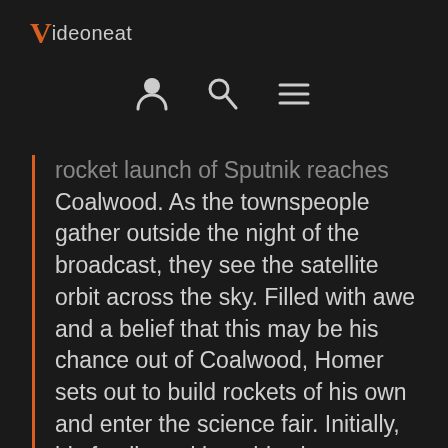Videoneat
[Figure (infographic): Navigation icons: user/profile icon, search icon, hamburger menu icon]
rocket launch of Sputnik reaches Coalwood. As the townspeople gather outside the night of the broadcast, they see the satellite orbit across the sky. Filled with awe and a belief that this may be his chance out of Coalwood, Homer sets out to build rockets of his own and enter the science fair. Initially, his family and later his classmates think he has gone crazy and is wasting his time...